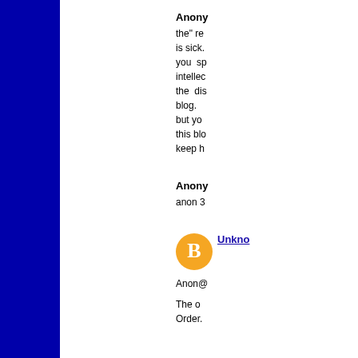Anonymous
the" re is sick. you sp intellec the dis blog. but yo this blo keep h
Anonymous
anon 3
Unknown
Anon@
The o Order.